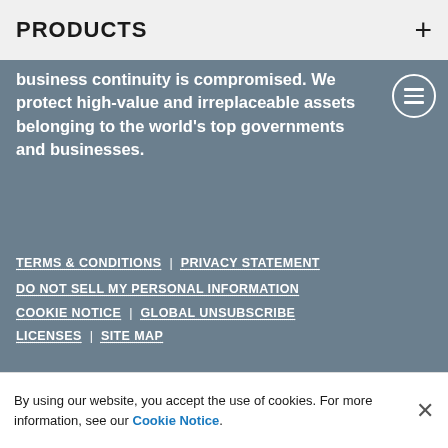PRODUCTS
business continuity is compromised. We protect high-value and irreplaceable assets belonging to the world's top governments and businesses.
TERMS & CONDITIONS   |   PRIVACY STATEMENT
DO NOT SELL MY PERSONAL INFORMATION
COOKIE NOTICE   |   GLOBAL UNSUBSCRIBE
LICENSES   |   SITE MAP
Xtralis, like the majority of manufacturers, is experiencing
By using our website, you accept the use of cookies. For more information, see our Cookie Notice.